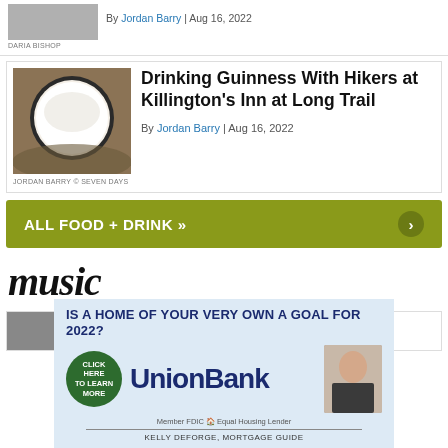DARIA BISHOP
By Jordan Barry | Aug 16, 2022
[Figure (photo): Bowl of Guinness beer with white foam head on wooden table]
JORDAN BARRY © SEVEN DAYS
Drinking Guinness With Hikers at Killington's Inn at Long Trail
By Jordan Barry | Aug 16, 2022
ALL FOOD + DRINK »
music
[Figure (photo): Partial music article image cropped at bottom]
[Figure (infographic): Union Bank advertisement: Is a home of your very own a goal for 2022? Click here to learn more. Member FDIC Equal Housing Lender. Kelly DeForge, Mortgage Guide.]